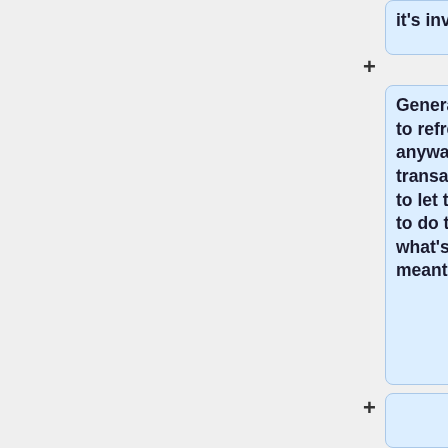it's invalid.
Generally, it's a good idea to refresh more often anyway to get more transactions, but it's better to let the pool decide when to do that, since it knows what's changed in the meantime already.
If your template included a "longpollid" key, you can